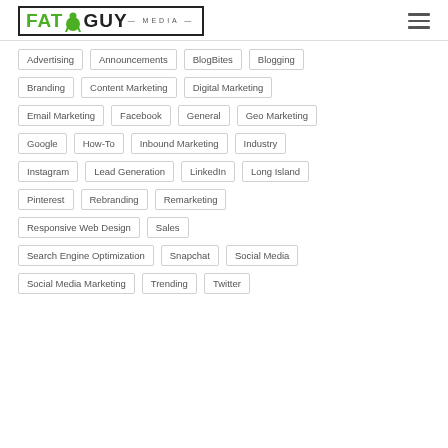[Figure (logo): Fat Guy Media logo with fat guy icon, green FAT and black GUY text, MEDIA subtitle, in a black border box]
Advertising
Announcements
BlogBites
Blogging
Branding
Content Marketing
Digital Marketing
Email Marketing
Facebook
General
Geo Marketing
Google
How-To
Inbound Marketing
Industry
Instagram
Lead Generation
LinkedIn
Long Island
Pinterest
Rebranding
Remarketing
Responsive Web Design
Sales
Search Engine Optimization
Snapchat
Social Media
Social Media Marketing
Trending
Twitter